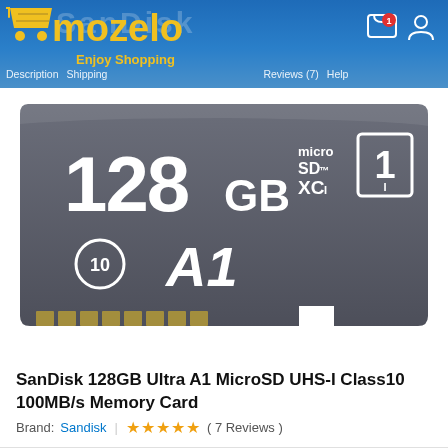mozelo — Enjoy Shopping | Description | Shipping | Reviews (7) | Help
[Figure (photo): SanDisk 128GB microSDXC UHS-I Class 10 A1 memory card — dark grey card showing '128 GB', 'microSDXC', 'UHS-I', 'Class 10', and 'A1' markings on a white background]
SanDisk 128GB Ultra A1 MicroSD UHS-I Class10 100MB/s Memory Card
Brand: Sandisk | ★★★★★ ( 7 Reviews )